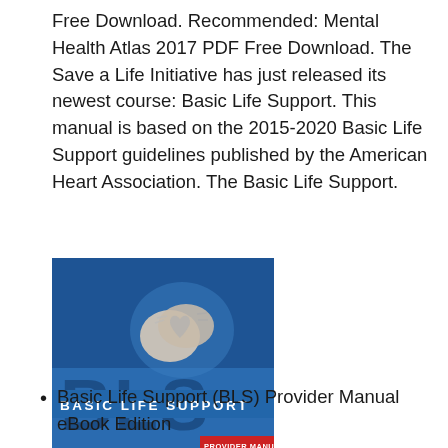Free Download. Recommended: Mental Health Atlas 2017 PDF Free Download. The Save a Life Initiative has just released its newest course: Basic Life Support. This manual is based on the 2015-2020 Basic Life Support guidelines published by the American Heart Association. The Basic Life Support.
[Figure (photo): Book cover of Basic Life Support (BLS) Provider Manual, showing hands performing CPR on a heart, with large BLS text and a red 'PROVIDER MANUAL' banner at the bottom, on a blue background.]
Basic Life Support (BLS) Provider Manual eBook Edition